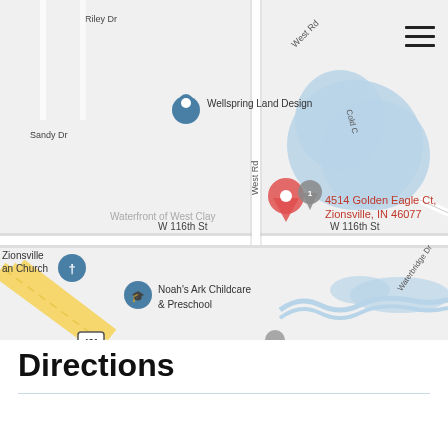[Figure (map): Google Maps screenshot showing the area around 4514 Golden Eagle Ct, Zionsville, IN 46077. Visible landmarks include Wellspring Land Design, Waterfront of West Clay, Zionsville an Church, Noah's Ark Childcare & Preschool, roads including Riley Dr, Sandy Dr, West Rd, W 116th St, Waterbridge Dr, Cold Creek, and highway 421. A red location pin marks 4514 Golden Eagle Ct. A blue lake/pond is visible on the right side. A hamburger menu icon is visible in the top-right corner.]
Directions